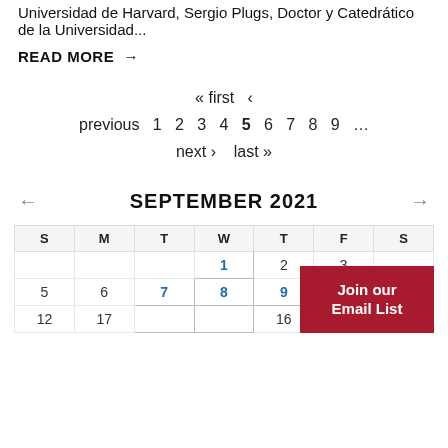Universidad de Harvard, Sergio Plugs, Doctor y Catedrático de la Universidad...
READ MORE →
« first ‹ previous 1 2 3 4 5 6 7 8 9 … next › last »
SEPTEMBER 2021
| S | M | T | W | T | F | S |
| --- | --- | --- | --- | --- | --- | --- |
|  |  |  | 1 | 2 | 3 |  |
| 5 | 6 | 7 | 8 | 9 | 10 | 11 |
| 12 | 17 |  |  | 16 |  | 18 |